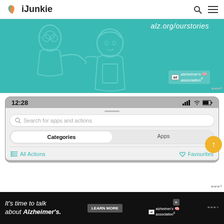iJunkie — navigation header with search and menu icons
[Figure (illustration): Alzheimer's Association advertisement banner showing illustrated elderly man and younger person on teal background with URL alz.org/ourstories and Alzheimer's association logo with ad label]
[Figure (screenshot): iPhone screen screenshot showing Siri Shortcuts or similar app interface at 12:28 with search bar 'Search for apps and actions', Categories/Apps tab selector, and All Actions / Favourites row]
[Figure (illustration): Bottom advertisement banner on black background: "It's time to talk about Alzheimer's." with LEARN MORE button and Alzheimer's association logo with close button]